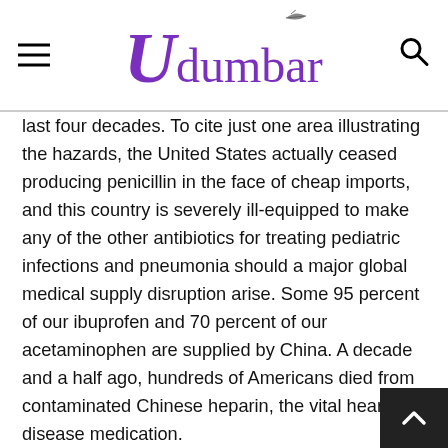Udumbara
last four decades. To cite just one area illustrating the hazards, the United States actually ceased producing penicillin in the face of cheap imports, and this country is severely ill-equipped to make any of the other antibiotics for treating pediatric infections and pneumonia should a major global medical supply disruption arise. Some 95 percent of our ibuprofen and 70 percent of our acetaminophen are supplied by China. A decade and a half ago, hundreds of Americans died from contaminated Chinese heparin, the vital heart disease medication.
Cutting off medical supplies is a particularly ruthless tactic in war, in the modern era and long past, but Beijing has the power to do such a thing to the American economy today.
Taiwan stands out as an opportunity to wean the West off dependence on China. Regarding medicine, for example, a